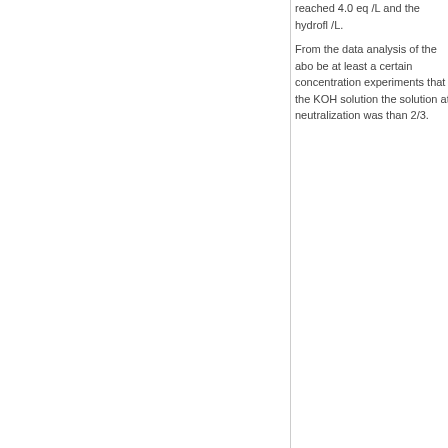reached 4.0 eq /L and the hydrofl /L.
From the data analysis of the abo be at least a certain concentration experiments that the KOH solution the solution at neutralization was than 2/3.